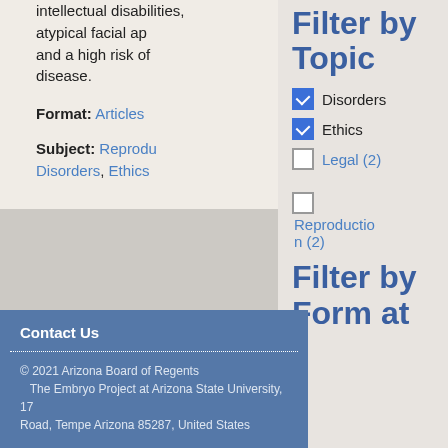intellectual disabilities, atypical facial ap and a high risk of disease.
Format: Articles
Subject: Reproduction Disorders, Ethics
Filter by Topic
Disorders (checked)
Ethics (checked)
Legal (2) (unchecked)
Reproduction (2) (unchecked)
Filter by Format
Contact Us
© 2021 Arizona Board of Regents The Embryo Project at Arizona State University, 17 Road, Tempe Arizona 85287, United States